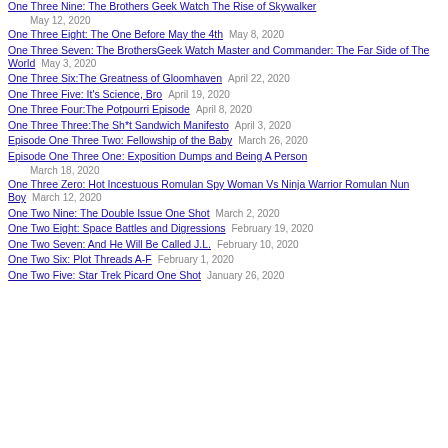One Three Nine: The Brothers Geek Watch The Rise of Skywalker — May 12, 2020
One Three Eight: The One Before May the 4th — May 8, 2020
One Three Seven: The BrothersGeek Watch Master and Commander: The Far Side of The World — May 3, 2020
One Three Six:The Greatness of Gloomhaven — April 22, 2020
One Three Five: It's Science, Bro — April 19, 2020
One Three Four:The Potpourri Episode — April 8, 2020
One Three Three:The Sh*t Sandwich Manifesto — April 3, 2020
Episode One Three Two: Fellowship of the Baby — March 26, 2020
Episode One Three One: Exposition Dumps and Being A Person — March 18, 2020
One Three Zero: Hot Incestuous Romulan Spy Woman Vs Ninja Warrior Romulan Nun Boy — March 12, 2020
One Two Nine: The Double Issue One Shot — March 2, 2020
One Two Eight: Space Battles and Digressions — February 19, 2020
One Two Seven: And He Will Be Called J.L. — February 10, 2020
One Two Six: Plot Threads A-F — February 1, 2020
One Two Five: Star Trek Picard One Shot — January 26, 2020